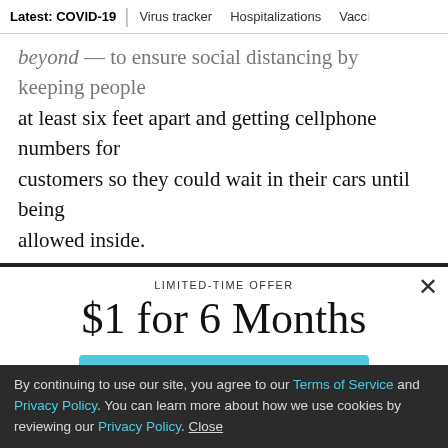Latest: COVID-19 | Virus tracker | Hospitalizations | Vacci
beyond — to ensure social distancing by keeping people at least six feet apart and getting cellphone numbers for customers so they could wait in their cars until being allowed inside.
LIMITED-TIME OFFER
$1 for 6 Months
SUBSCRIBE NOW
By continuing to use our site, you agree to our Terms of Service and Privacy Policy. You can learn more about how we use cookies by reviewing our Privacy Policy. Close